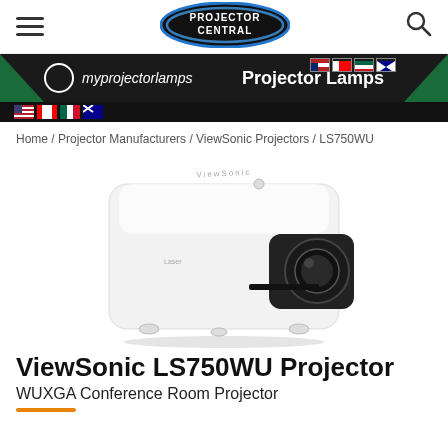Projector Central (navigation header with hamburger menu and search icon)
[Figure (logo): Projector Central logo — oval dark background with blue rim and white text PROJECTOR CENTRAL]
[Figure (infographic): myprojectorlamps advertisement banner — dark background with green triangles, circle logo, italic brand name myprojectorlamps, bold text Projector Lamps, flag icons for US, Canada, Mexico, Australia]
Home / Projector Manufacturers / ViewSonic Projectors / LS750WU
[Figure (photo): ViewSonic LS750WU projector — white body with black lens on right side, angled view from front-left]
ViewSonic LS750WU Projector
WUXGA Conference Room Projector